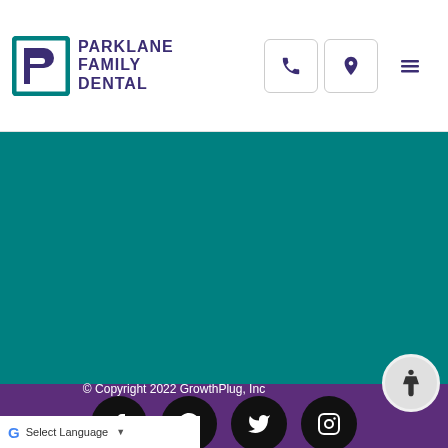[Figure (logo): Parklane Family Dental logo with stylized P icon in teal and purple, company name in dark purple uppercase letters]
[Figure (screenshot): Navigation icons: phone, location pin, and hamburger menu in purple on white rounded rectangles]
[Figure (illustration): Solid teal/dark cyan colored banner section]
[Figure (illustration): Purple footer section with black circular social media icons for Facebook, Google, Twitter, and Instagram]
© Copyright 2022 GrowthPlug, Inc
[Figure (illustration): Google Translate selector bar with Google G logo and 'Select Language' dropdown]
[Figure (illustration): Circular accessibility icon button in bottom right corner]